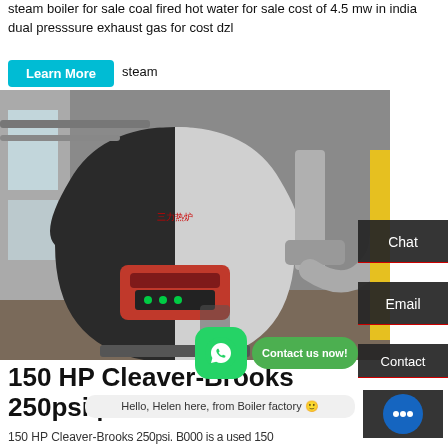steam boiler for sale coal fired hot water for sale cost of 4.5 mw in india dual presssure exhaust gas for cost dzl
Learn More   steam
[Figure (photo): Industrial steam boiler in a factory setting, large cylindrical vessel with red burner unit and exhaust pipes]
Chat
Email
Contact us now!
Contact
150 HP Cleaver-Brooks 250psi | Power Mechanical
Hello, Helen here, from Boiler factory 🙂
150 HP Cleaver-Brooks 250psi. B000 is a used 150...
Pass dryback high pressure steam boiler made by...